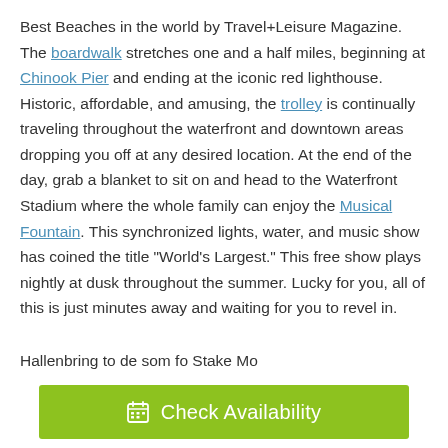Best Beaches in the world by Travel+Leisure Magazine. The boardwalk stretches one and a half miles, beginning at Chinook Pier and ending at the iconic red lighthouse. Historic, affordable, and amusing, the trolley is continually traveling throughout the waterfront and downtown areas dropping you off at any desired location. At the end of the day, grab a blanket to sit on and head to the Waterfront Stadium where the whole family can enjoy the Musical Fountain. This synchronized lights, water, and music show has coined the title "World's Largest." This free show plays nightly at dusk throughout the summer. Lucky for you, all of this is just minutes away and waiting for you to revel in.
[Figure (other): Green 'Check Availability' button with a calendar icon on the left]